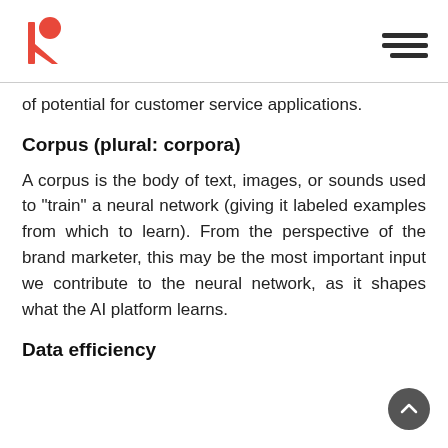of potential for customer service applications.
Corpus (plural: corpora)
A corpus is the body of text, images, or sounds used to "train" a neural network (giving it labeled examples from which to learn). From the perspective of the brand marketer, this may be the most important input we contribute to the neural network, as it shapes what the AI platform learns.
Data efficiency